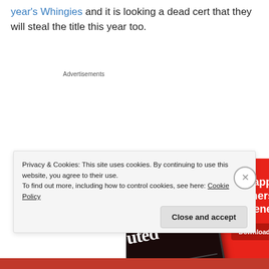year's Whingies and it is looking a dead cert that they will steal the title this year too.
Advertisements
[Figure (photo): Advertisement banner for a podcast app: red background with a phone showing 'Dis-trib-uted' podcast, with text 'An app by listeners, for listeners.' and a 'Download now' button]
Privacy & Cookies: This site uses cookies. By continuing to use this website, you agree to their use.
To find out more, including how to control cookies, see here: Cookie Policy
Close and accept